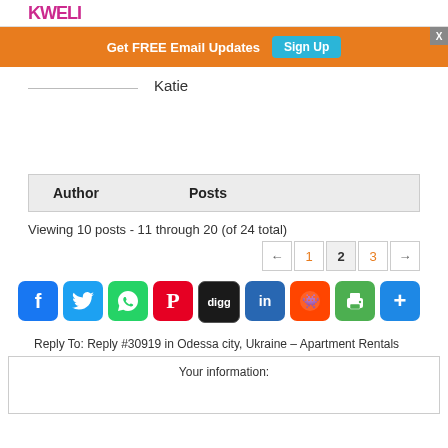KWELI
[Figure (infographic): Orange banner with Get FREE Email Updates text and Sign Up button; X close button in top right corner]
Katie
| Author | Posts |
| --- | --- |
Viewing 10 posts - 11 through 20 (of 24 total)
[Figure (infographic): Social sharing icons: Facebook, Twitter, WhatsApp, Pinterest, Digg, LinkedIn, Reddit, Print, Share More]
Reply To: Reply #30919 in Odessa city, Ukraine – Apartment Rentals
Your information: